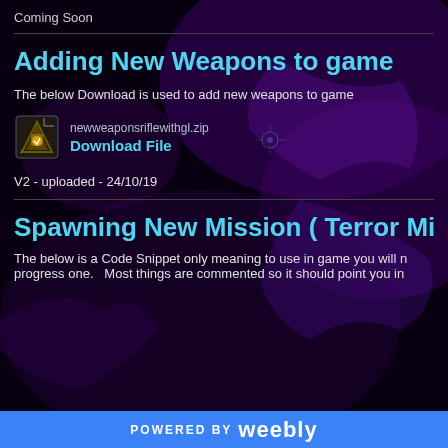Coming Soon
Adding New Weapons to game
The below Download is used to add new weapons to game
[Figure (other): Download file icon for newweaponsriflewithgl.zip with a Download File link]
V2 - uploaded - 24/10/19
Spawning New Mission ( Terror Mi
The below is a Code Snippet only meaning to use in game you will need to progress one. Most things are commented so it should point you in
POWERED BY weebly